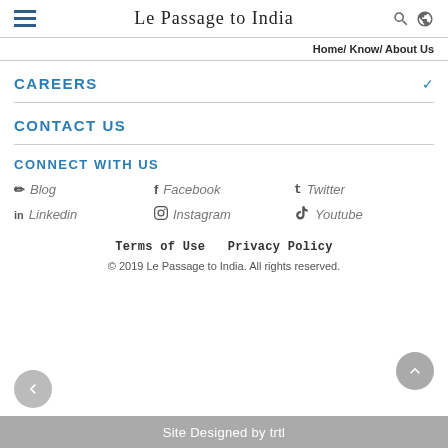Le Passage to India
Home/ Know/ About Us
CAREERS
CONTACT US
CONNECT WITH US
Blog
Facebook
Twitter
Linkedin
Instagram
Youtube
Terms of Use   Privacy Policy
© 2019 Le Passage to India. All rights reserved.
Site Designed by trtl